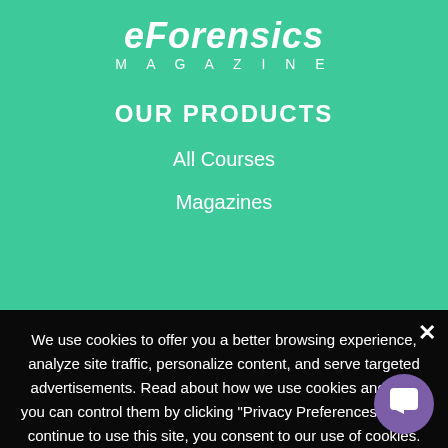[Figure (logo): eForensics Magazine logo — stylized italic text 'eForensics' with 'Magazine' below in spaced uppercase letters, white on green background]
OUR PRODUCTS
All Courses
Magazines
We use cookies to offer you a better browsing experience, analyze site traffic, personalize content, and serve targeted advertisements. Read about how we use cookies and how you can control them by clicking "Privacy Preferences". If you continue to use this site, you consent to our use of cookies.
❯ Privacy Preferences
I Agree